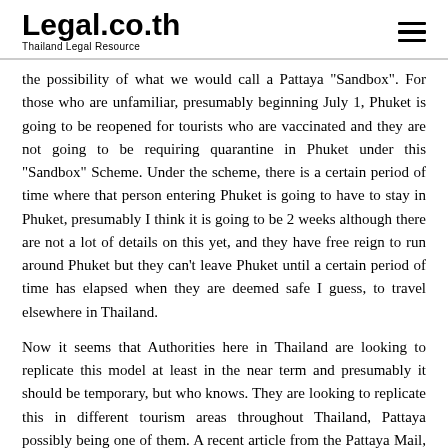Legal.co.th — Thailand Legal Resource
the possibility of what we would call a Pattaya "Sandbox". For those who are unfamiliar, presumably beginning July 1, Phuket is going to be reopened for tourists who are vaccinated and they are not going to be requiring quarantine in Phuket under this "Sandbox" Scheme. Under the scheme, there is a certain period of time where that person entering Phuket is going to have to stay in Phuket, presumably I think it is going to be 2 weeks although there are not a lot of details on this yet, and they have free reign to run around Phuket but they can't leave Phuket until a certain period of time has elapsed when they are deemed safe I guess, to travel elsewhere in Thailand.
Now it seems that Authorities here in Thailand are looking to replicate this model at least in the near term and presumably it should be temporary, but who knows. They are looking to replicate this in different tourism areas throughout Thailand, Pattaya possibly being one of them. A recent article from the Pattaya Mail, that is pattayamail.com, the article is titled: Pattaya Sandbox Idea Still Needs a Whole lot of Detail. Quoting directly: "Under current Thai